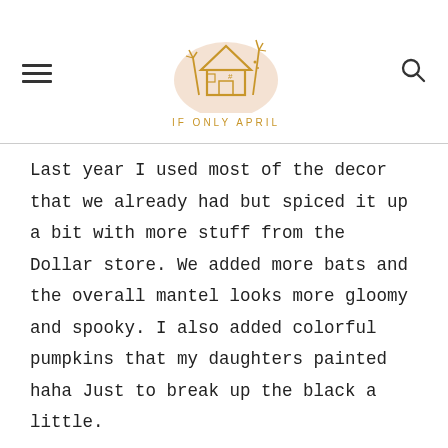IF ONLY APRIL
Last year I used most of the decor that we already had but spiced it up a bit with more stuff from the Dollar store. We added more bats and the overall mantel looks more gloomy and spooky. I also added colorful pumpkins that my daughters painted haha Just to break up the black a little.
Pampas grass that you see I found on the side of the road and happily brought home. So whole decorations didn't cost me more than